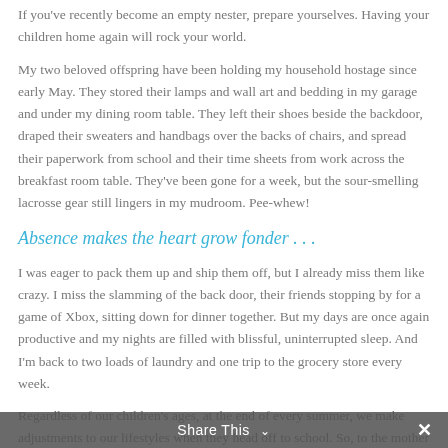If you've recently become an empty nester, prepare yourselves. Having your children home again will rock your world.
My two beloved offspring have been holding my household hostage since early May. They stored their lamps and wall art and bedding in my garage and under my dining room table. They left their shoes beside the backdoor, draped their sweaters and handbags over the backs of chairs, and spread their paperwork from school and their time sheets from work across the breakfast room table. They’ve been gone for a week, but the sour-smelling lacrosse gear still lingers in my mudroom. Pee-whew!
Absence makes the heart grow fonder . . .
I was eager to pack them up and ship them off, but I already miss them like crazy. I miss the slamming of the back door, their friends stopping by for a game of Xbox, sitting down for dinner together. But my days are once again productive and my nights are filled with blissful, uninterrupted sleep. And I’m back to two loads of laundry and one trip to the grocery store every week.
Regardless of our children’s ages, at the end of every summer, we make adjustments to our lifestyles when they head off to school. So, to the mother of the kindergartner and those of you taking your
Share This ∨ ×